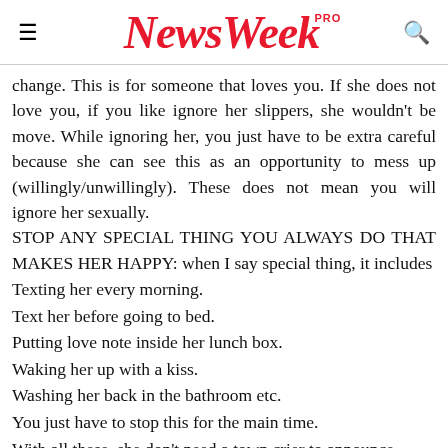NewsWeek PRO
change. This is for someone that loves you. If she does not love you, if you like ignore her slippers, she wouldn't be move. While ignoring her, you just have to be extra careful because she can see this as an opportunity to mess up (willingly/unwillingly). These does not mean you will ignore her sexually.
STOP ANY SPECIAL THING YOU ALWAYS DO THAT MAKES HER HAPPY: when I say special thing, it includes
Texting her every morning.
Text her before going to bed.
Putting love note inside her lunch box.
Waking her up with a kiss.
Washing her back in the bathroom etc.
You just have to stop this for the main time.
With all these, she don't need a town crier to announce